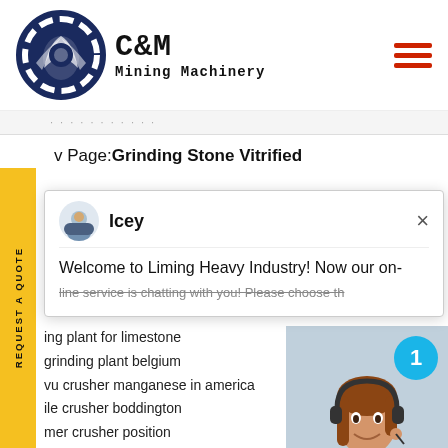[Figure (logo): C&M Mining Machinery logo with eagle gear icon]
C&M Mining Machinery
v Page:Grinding Stone Vitrified
[Figure (screenshot): Chat popup with Icey agent: Welcome to Liming Heavy Industry! Now our on-line service is chatting with you! Please choose th...]
ing plant for limestone
grinding plant belgium
vu crusher manganese in america
ile crusher boddington
mer crusher position
es coal mining
lication plant manufacturer in china
cone crusher selectedcone crusher selecting
trituradoras de tierra gigantes
machines and tools in gold mining
high quality laboratory ball mill system ore m
[Figure (photo): Customer service representative with headset, teal badge showing number 1, Click to Chat button and Enquiry bar]